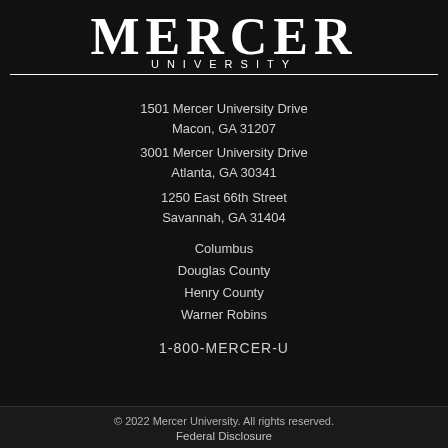[Figure (logo): Mercer University logo with large serif text 'MERCER' and subtitle 'UNIVERSITY' in white on black background]
1501 Mercer University Drive
Macon, GA 31207
3001 Mercer University Drive
Atlanta, GA 30341
1250 East 66th Street
Savannah, GA 31404
Columbus
Douglas County
Henry County
Warner Robins
1-800-MERCER-U
© 2022 Mercer University. All rights reserved.
Federal Disclosure